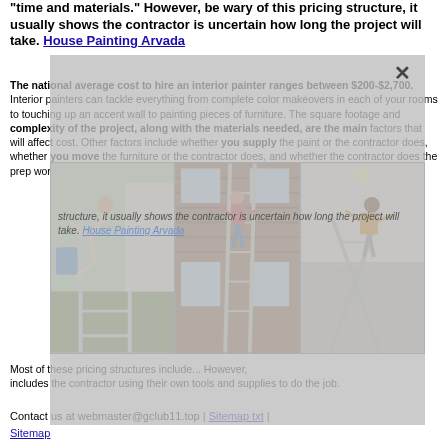"time and materials." However, be wary of this pricing structure, it usually shows the contractor is uncertain how long the project will take. House Painting Arvada
The national average cost to hire an interior painter ranges between $200-$2,700. Interior painters can tackle everything from complete color makeovers in each of your rooms to touching up an accent wall to painting pieces of furniture. The square footage and complexity of the project, along with the materials needed, are the main factors that will affect cost. Other factors include whether you supply the paint or the contractor does, whether you move the furniture or the contractor does, and whether the contractor does the prep work. House Painting Arvada
[Figure (photo): Three-panel photo strip showing people on ladders in various situations: gymnast falling off ladder outdoors, person painting on brick house exterior, person on ladder indoors]
Most of these pricing structures include...
However, be wary of this pricing structure, it usually shows the contractor is uncertain how long the project will take. House Painting Arvada
Contact us at webmaster@gclub11.top | Sitemap txt | Sitemap